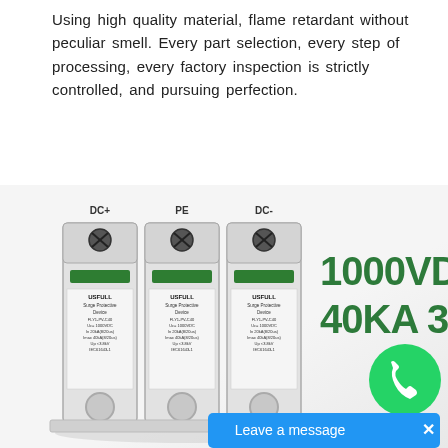Using high quality material, flame retardant without peculiar smell. Every part selection, every step of processing, every factory inspection is strictly controlled, and pursuing perfection.
[Figure (photo): USFULL brand 3-pole DC surge protective device (SPD) rated 1000VDC, 40KA, 3P. Three white modules labeled DC+, PE, DC- with black screw terminals on top. Green indicators and USFULL branding visible. Product specs: FLY1-PV-C40, Uc=1000VDC, In 20kA(8/20us), Imax 40kA(8/20us), Up <3.8kV, IEC61643-1. Green '1000VDC 40KA 3P' text overlay on right side. WhatsApp icon and 'Leave a message' blue bar at bottom right.]